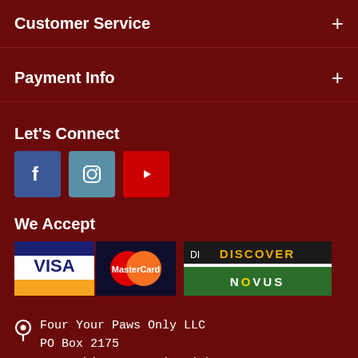Customer Service +
Payment Info +
Let's Connect
[Figure (infographic): Three social media icon buttons: Facebook (blue), Instagram (teal/grey-blue), YouTube (red)]
We Accept
[Figure (infographic): Payment card logos: VISA, MasterCard, Discover/Novus]
Four Your Paws Only LLC
PO Box 2175
1821 White Mountain Highway
North Conway, NH 03860